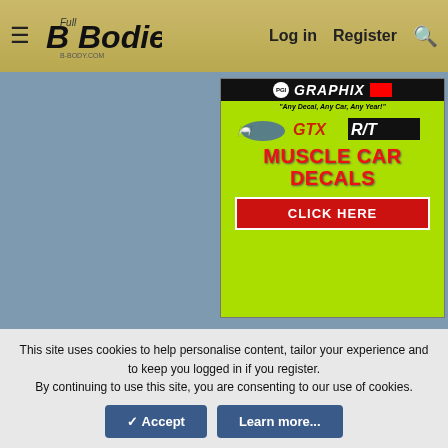[Figure (screenshot): Website navigation bar for Full B Bodies forum with hamburger menu, logo, Log in, Register, and search icon on gold/tan background]
[Figure (illustration): PGI Graphix advertisement - Muscle Car Decals on bright green background with GTX R/T branding and 'CLICK HERE' button]
[Figure (illustration): Detroit Muscle Technologies LLC advertisement listing Mopar body restoration gaskets, Mega resto sets, Exterior gasket sets, Firewall gasket sets, Heater box resto kits, Splash shield sets, Firewall insulation, Woodgrain overlay]
[Figure (illustration): JustMopar.com advertisement - Your Mopar Weatherstripping, with Discount circle emblem on yellow background]
This site uses cookies to help personalise content, tailor your experience and to keep you logged in if you register.
By continuing to use this site, you are consenting to our use of cookies.
✓ Accept    Learn more...